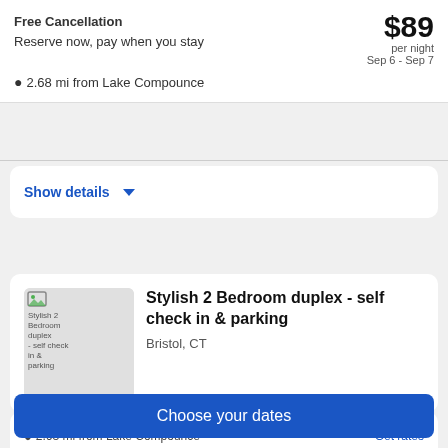Free Cancellation
Reserve now, pay when you stay
$89 per night
Sep 6 - Sep 7
2.68 mi from Lake Compounce
Show details
[Figure (photo): Stylish 2 Bedroom duplex - self check in & parking property photo]
Stylish 2 Bedroom duplex - self check in & parking
Bristol, CT
2.68 mi from Lake Compounce
Get rates
Choose your dates